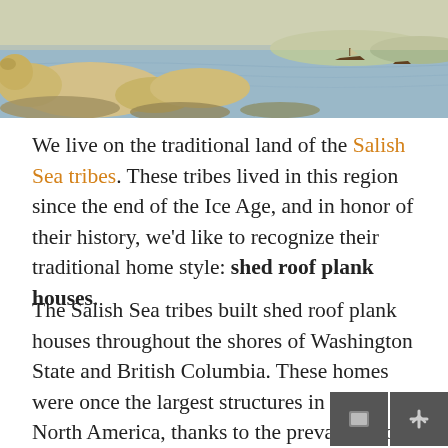[Figure (illustration): A painted illustration showing a coastal Pacific Northwest scene with animals (likely bears or similar creatures) resting on rocky shores, water in the background with boats visible on the horizon.]
We live on the traditional land of the Salish Sea tribes. These tribes lived in this region since the end of the Ice Age, and in honor of their history, we'd like to recognize their traditional home style: shed roof plank houses.
The Salish Sea tribes built shed roof plank houses throughout the shores of Washington State and British Columbia. These homes were once the largest structures in all of North America, thanks to the prevalence of cedar trees as ready building material. These houses were built entirely out of western red cedar: plank walls and a shed roof of overlapping cedar shakes. Each building had a rectangular floor plan, and they often reached lengths of 200 feet or longer. An average shed roof plank house had a staggering 12,000